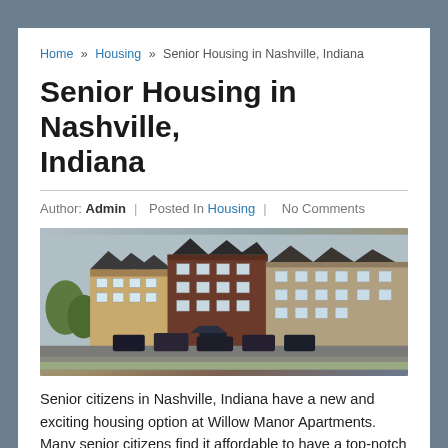Home » Housing » Senior Housing in Nashville, Indiana
Senior Housing in Nashville, Indiana
Author: Admin | Posted In Housing | No Comments
[Figure (photo): Exterior photo of Willow Manor Apartments, a multi-story brick apartment complex with parking lot in foreground]
Senior citizens in Nashville, Indiana have a new and exciting housing option at Willow Manor Apartments. Many senior citizens find it affordable to have a top-notch place to